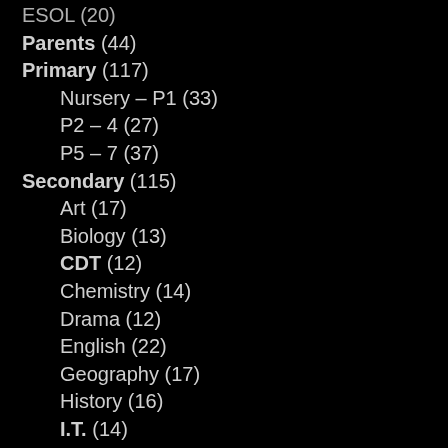ESOL (20)
Parents (44)
Primary (117)
Nursery – P1 (33)
P2 – 4 (27)
P5 – 7 (37)
Secondary (115)
Art (17)
Biology (13)
CDT (12)
Chemistry (14)
Drama (12)
English (22)
Geography (17)
History (16)
I.T. (14)
Maths (24)
Modern Studies (13)
Music (14)
P.E. (12)
Physics (14)
Science (21)
SFL (56)